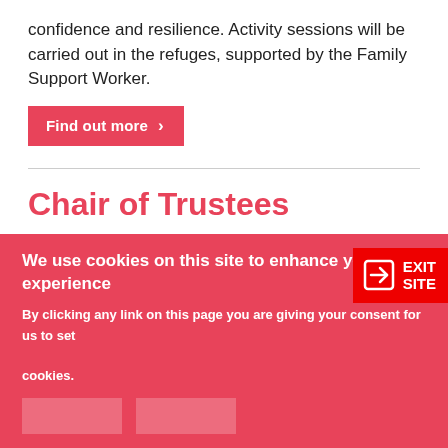confidence and resilience. Activity sessions will be carried out in the refuges, supported by the Family Support Worker.
Find out more >
Chair of Trustees
Location: London
[Figure (other): EXIT SITE button — red background with arrow icon and text EXIT SITE]
We use cookies on this site to enhance your user experience
By clicking any link on this page you are giving your consent for us to set cookies.